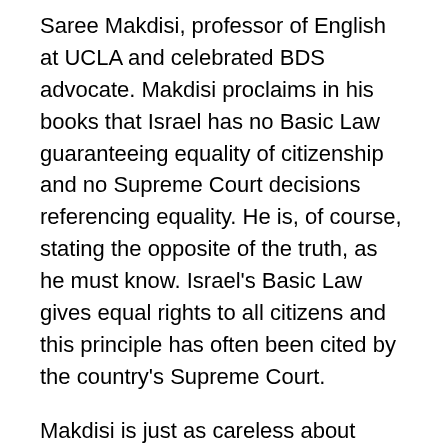Saree Makdisi, professor of English at UCLA and celebrated BDS advocate. Makdisi proclaims in his books that Israel has no Basic Law guaranteeing equality of citizenship and no Supreme Court decisions referencing equality. He is, of course, stating the opposite of the truth, as he must know. Israel's Basic Law gives equal rights to all citizens and this principle has often been cited by the country's Supreme Court.
Makdisi is just as careless about facts in his account of Bedouin villages which, he inaccurately claims, Israel has refused to recognize. Nelson traveled to one of the villages, Arab al-Na'im, which was recognized in 2000, as Makdisi might have learned from Wikipedia. Its Bedouin leader, Nimer al-Na'im, angrily said that Makdisi's account was full of “lies,” and was astonished, as Nelson puts it, that “someone halfway around the world” was